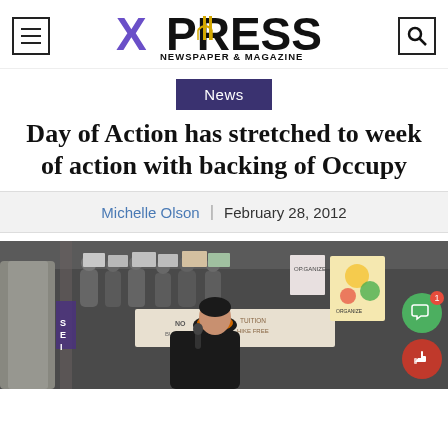XPRESS NEWSPAPER & MAGAZINE
News
Day of Action has stretched to week of action with backing of Occupy
Michelle Olson | February 28, 2012
[Figure (photo): A woman speaking into a microphone at a protest rally inside a building, with people holding signs visible in the background. A large banner is visible. Social media engagement icons overlay the bottom-right corner.]